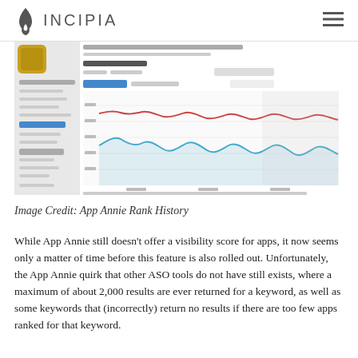INCIPIA
[Figure (screenshot): App Annie Rank History dashboard screenshot showing rank history chart with multiple colored lines (red, blue) over time, with sidebar navigation and app icon visible.]
Image Credit: App Annie Rank History
While App Annie still doesn't offer a visibility score for apps, it now seems only a matter of time before this feature is also rolled out. Unfortunately, the App Annie quirk that other ASO tools do not have still exists, where a maximum of about 2,000 results are ever returned for a keyword, as well as some keywords that (incorrectly) return no results if there are too few apps ranked for that keyword.